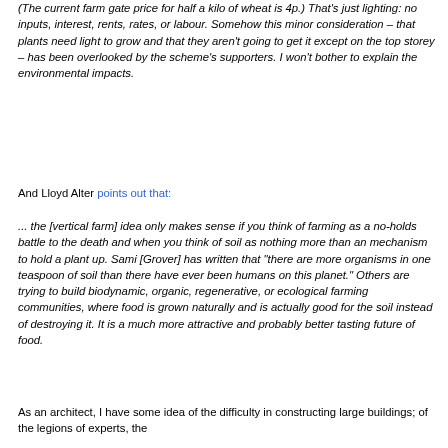(The current farm gate price for half a kilo of wheat is 4p.) That's just lighting: no inputs, interest, rents, rates, or labour. Somehow this minor consideration – that plants need light to grow and that they aren't going to get it except on the top storey – has been overlooked by the scheme's supporters. I won't bother to explain the environmental impacts.
And Lloyd Alter points out that:
... the [vertical farm] idea only makes sense if you think of farming as a no-holds battle to the death and when you think of soil as nothing more than an mechanism to hold a plant up. Sami [Grover] has written that "there are more organisms in one teaspoon of soil than there have ever been humans on this planet." Others are trying to build biodynamic, organic, regenerative, or ecological farming communities, where food is grown naturally and is actually good for the soil instead of destroying it. It is a much more attractive and probably better tasting future of food.
As an architect, I have some idea of the difficulty in constructing large buildings; of the legions of experts, the …